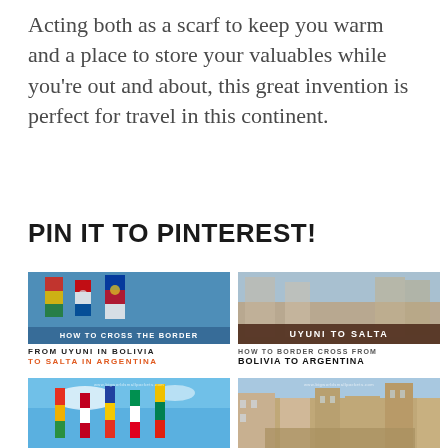Acting both as a scarf to keep you warm and a place to store your valuables while you’re out and about, this great invention is perfect for travel in this continent.
PIN IT TO PINTEREST!
[Figure (photo): Pinterest card: photo of Bolivia/Argentina border flags with blue sky, banner overlay reading HOW TO CROSS THE BORDER, text below: FROM UYUNI IN BOLIVIA / TO SALTA IN ARGENTINA (in orange)]
[Figure (photo): Pinterest card: photo of Salta architecture/street scene with dark brown banner overlay reading UYUNI TO SALTA, text below: HOW TO BORDER CROSS FROM / BOLIVIA TO ARGENTINA]
[Figure (photo): Pinterest card bottom-left: colorful flags (various countries) against blue sky with website watermark www.bigworldsmallpockets.com]
[Figure (photo): Pinterest card bottom-right: street scene in Salta Argentina with colonial architecture, website watermark www.bigworldsmallpockets.com]